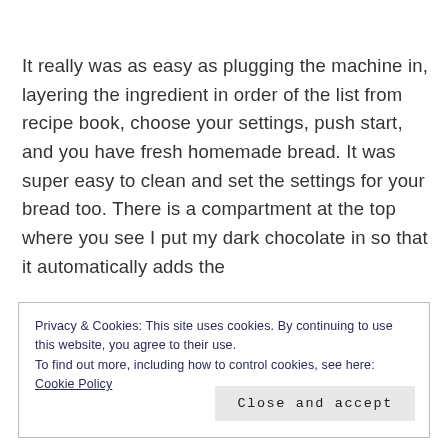It really was as easy as plugging the machine in, layering the ingredient in order of the list from recipe book, choose your settings, push start, and you have fresh homemade bread. It was super easy to clean and set the settings for your bread too. There is a compartment at the top where you see I put my dark chocolate in so that it automatically adds the
Privacy & Cookies: This site uses cookies. By continuing to use this website, you agree to their use.
To find out more, including how to control cookies, see here:
Cookie Policy
Close and accept